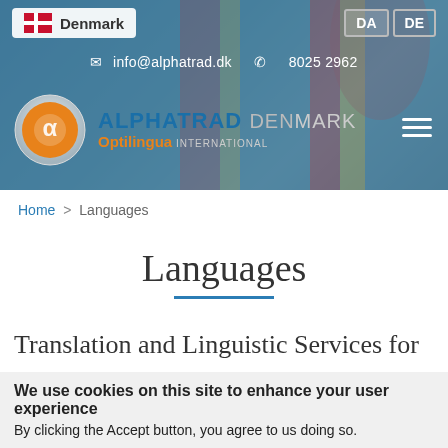[Figure (screenshot): Website header banner with blurred flags background, showing Denmark country badge with Danish flag, DA and DE language buttons, contact info bar with email and phone, Alphatrad Denmark Optilingua International logo with orange circle icon, and hamburger menu icon]
Home > Languages
Languages
Translation and Linguistic Services for
We use cookies on this site to enhance your user experience
By clicking the Accept button, you agree to us doing so.